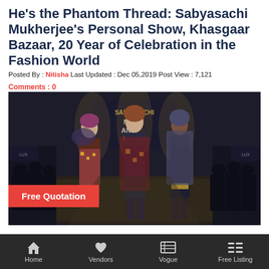He's the Phantom Thread: Sabyasachi Mukherjee's Personal Show, Khasgaar Bazaar, 20 Year of Celebration in the Fashion World
Posted By : Nitisha Last Updated : Dec 05,2019 Post View : 7,121
Comments : 0
[Figure (photo): Fashion show photo showing three female models walking the runway in traditional South Asian attire. A banner reading SABYASACHI ME AND ME is visible in the background. A red 'Free Quotation' label appears at the bottom left of the image.]
Home | Vendors | Vogue | Free Listing